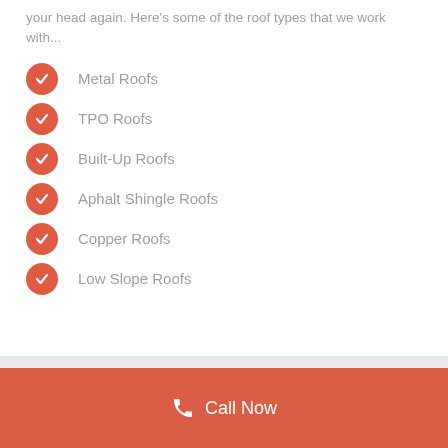your head again. Here's some of the roof types that we work with...
Metal Roofs
TPO Roofs
Built-Up Roofs
Aphalt Shingle Roofs
Copper Roofs
Low Slope Roofs
Call Now